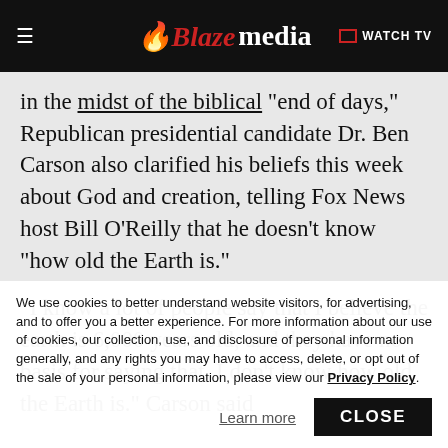Blaze media — WATCH TV
in the midst of the biblical "end of days," Republican presidential candidate Dr. Ben Carson also clarified his beliefs this week about God and creation, telling Fox News host Bill O'Reilly that he doesn't know "how old the Earth is."
"I know a lot of people say that I believe the earth is 6,000 years old, and they have no basis for saying that. I don't know how old the Earth is." Carson said
We use cookies to better understand website visitors, for advertising, and to offer you a better experience. For more information about our use of cookies, our collection, use, and disclosure of personal information generally, and any rights you may have to access, delete, or opt out of the sale of your personal information, please view our Privacy Policy.
Learn more
CLOSE